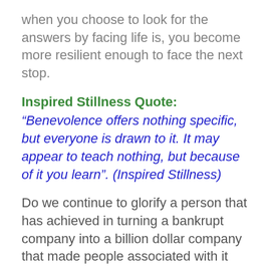when you choose to look for the answers by facing life is, you become more resilient enough to face the next stop.
Inspired Stillness Quote:
“Benevolence offers nothing specific, but everyone is drawn to it. It may appear to teach nothing, but because of it you learn”. (Inspired Stillness)
Do we continue to glorify a person that has achieved in turning a bankrupt company into a billion dollar company that made people associated with it financially rich, and has influenced the communication technology that has benefited most us? And on the hand, he